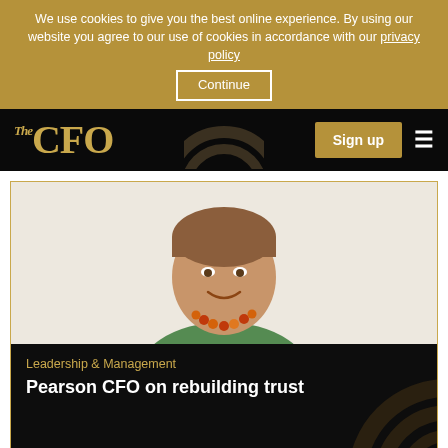We use cookies to give you the best online experience. By using our website you agree to our use of cookies in accordance with our privacy policy
The CFO
[Figure (photo): Portrait photo of a woman smiling, wearing a colourful beaded necklace and green top, white background]
Leadership & Management
Pearson CFO on rebuilding trust
Sign up to our Newsletter